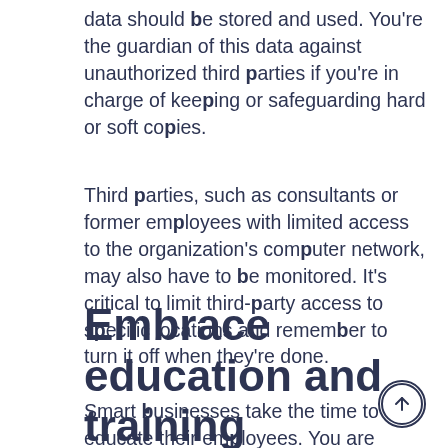data should be stored and used. You're the guardian of this data against unauthorized third parties if you're in charge of keeping or safeguarding hard or soft copies.
Third parties, such as consultants or former employees with limited access to the organization's computer network, may also have to be monitored. It's critical to limit third-party access to specific locations and remember to turn it off when they're done.
Embrace education and training
Smart businesses take the time to educate their employees. You are responsible for